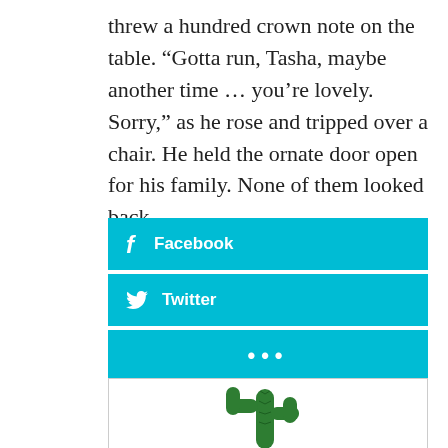threw a hundred crown note on the table. “Gotta run, Tasha, maybe another time … you’re lovely. Sorry,” as he rose and tripped over a chair. He held the ornate door open for his family. None of them looked back.
[Figure (other): Three social sharing buttons stacked vertically: Facebook (cyan), Twitter (cyan), and a more/ellipsis button (cyan with three dots)]
[Figure (illustration): A green cactus illustration at the bottom of the page inside a white box with a light gray border]